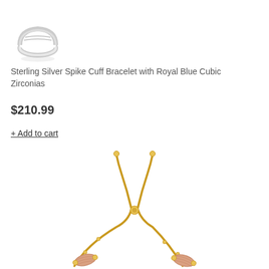[Figure (photo): Partial view of a sterling silver ring photographed from above on white background]
Sterling Silver Spike Cuff Bracelet with Royal Blue Cubic Zirconias
$210.99
+ Add to cart
[Figure (photo): Gold-toned adjustable bracelet with rose gold oval bead accents, shown with sliding clasp mechanism at top]